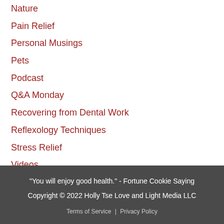Nature
Pain Relief
Personal Musings
Pets
Podcast
Q&A Monday
Recovering from Dental Work
Reflexology Techniques
Stress Relief
Videos
Women's Health
"You will enjoy good health." - Fortune Cookie Saying
Copyright © 2022 Holly Tse Love and Light Media LLC
Terms of Service | Privacy Policy